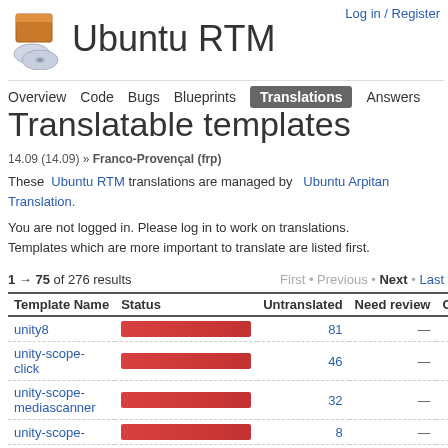Log in / Register
Ubuntu RTM
Overview   Code   Bugs   Blueprints   Translations   Answers
Translatable templates
14.09 (14.09) » Franco-Provençal (frp)
These Ubuntu RTM translations are managed by Ubuntu Arpitan Translation.
You are not logged in. Please log in to work on translations. Templates which are more important to translate are listed first.
1 → 75 of 276 results    First • Previous • Next • Last
| Template Name | Status | Untranslated | Need review | Ch |
| --- | --- | --- | --- | --- |
| unity8 | [bar] | 81 | — |  |
| unity-scope-click | [bar] | 46 | — |  |
| unity-scope-mediascanner | [bar] | 32 | — |  |
| unity-scope- | [bar] | 8 | — |  |